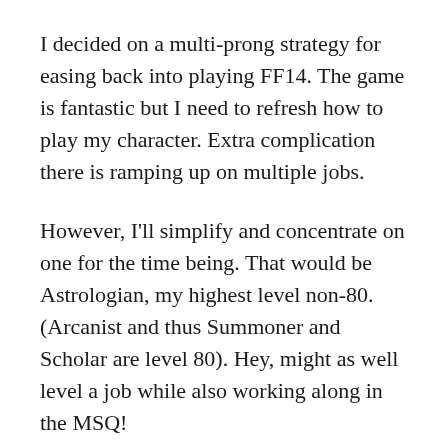I decided on a multi-prong strategy for easing back into playing FF14. The game is fantastic but I need to refresh how to play my character. Extra complication there is ramping up on multiple jobs.
However, I'll simplify and concentrate on one for the time being. That would be Astrologian, my highest level non-80. (Arcanist and thus Summoner and Scholar are level 80). Hey, might as well level a job while also working along in the MSQ!
I had left off almost done with the Dragonsong War quests – Griffin, Griffin on the Wall which requires Baelsar's Wall (dungeon). But before